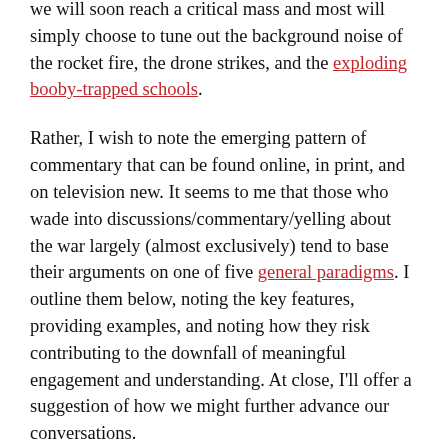we will soon reach a critical mass and most will simply choose to tune out the background noise of the rocket fire, the drone strikes, and the exploding booby-trapped schools.
Rather, I wish to note the emerging pattern of commentary that can be found online, in print, and on television new. It seems to me that those who wade into discussions/commentary/yelling about the war largely (almost exclusively) tend to base their arguments on one of five general paradigms. I outline them below, noting the key features, providing examples, and noting how they risk contributing to the downfall of meaningful engagement and understanding. At close, I'll offer a suggestion of how we might further advance our conversations.